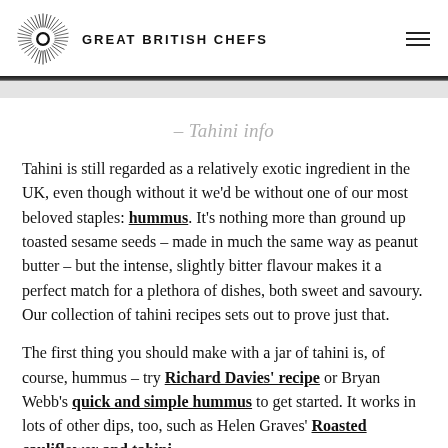GREAT BRITISH CHEFS
– Tahini info
Tahini is still regarded as a relatively exotic ingredient in the UK, even though without it we'd be without one of our most beloved staples: hummus. It's nothing more than ground up toasted sesame seeds – made in much the same way as peanut butter – but the intense, slightly bitter flavour makes it a perfect match for a plethora of dishes, both sweet and savoury. Our collection of tahini recipes sets out to prove just that.
The first thing you should make with a jar of tahini is, of course, hummus – try Richard Davies' recipe or Bryan Webb's quick and simple hummus to get started. It works in lots of other dips, too, such as Helen Graves' Roasted cauliflower and tahini